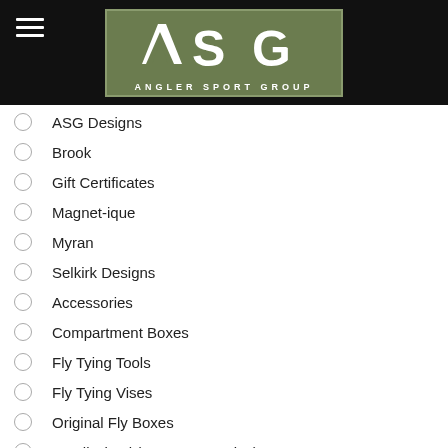[Figure (logo): ASG Angler Sport Group logo on dark background with hamburger menu icon]
ASG Designs
Brook
Gift Certificates
Magnet-ique
Myran
Selkirk Designs
Accessories
Compartment Boxes
Fly Tying Tools
Fly Tying Vises
Original Fly Boxes
Small-Sized (FSA-1500 series)